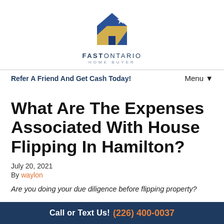[Figure (logo): Fast Ontario Home Buyer logo — blue house icon with gold/yellow accent and company name]
Refer A Friend And Get Cash Today!    Menu ▼
What Are The Expenses Associated With House Flipping In Hamilton?
July 20, 2021
By waylon
Are you doing your due diligence before flipping property?
Call or Text Us! (226) 400-0037